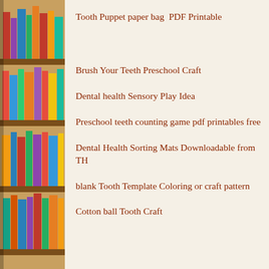[Figure (photo): Bookshelf with colorful books arranged on multiple shelves, left side of page]
Tooth Puppet paper bag  PDF Printable
Brush Your Teeth Preschool Craft
Dental health Sensory Play Idea
Preschool teeth counting game pdf printables free
Dental Health Sorting Mats Downloadable from TH
blank Tooth Template Coloring or craft pattern
Cotton ball Tooth Craft